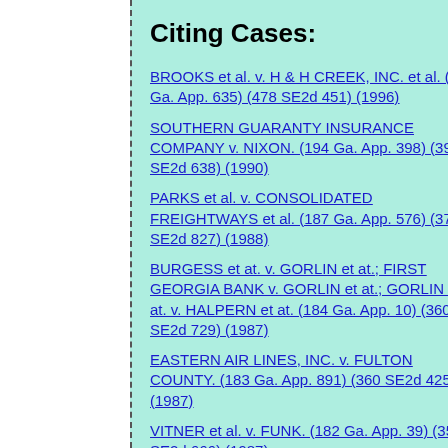Citing Cases:
BROOKS et al. v. H & H CREEK, INC. et al. (223 Ga. App. 635) (478 SE2d 451) (1996)
SOUTHERN GUARANTY INSURANCE COMPANY v. NIXON. (194 Ga. App. 398) (390 SE2d 638) (1990)
PARKS et al. v. CONSOLIDATED FREIGHTWAYS et al. (187 Ga. App. 576) (370 SE2d 827) (1988)
BURGESS et at. v. GORLIN et at.; FIRST GEORGIA BANK v. GORLIN et at.; GORLIN et at. v. HALPERN et at. (184 Ga. App. 10) (360 SE2d 729) (1987)
EASTERN AIR LINES, INC. v. FULTON COUNTY. (183 Ga. App. 891) (360 SE2d 425) (1987)
VITNER et al. v. FUNK. (182 Ga. App. 39) (354 SE2d 666) (1987)